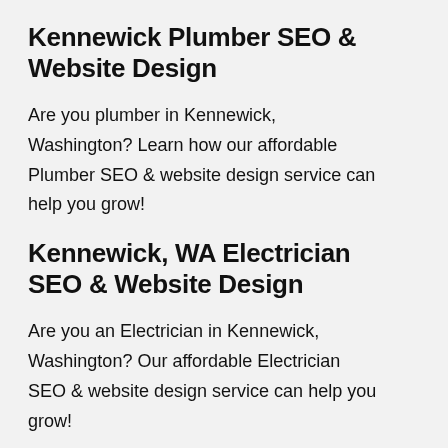Kennewick Plumber SEO & Website Design
Are you plumber in Kennewick, Washington? Learn how our affordable Plumber SEO & website design service can help you grow!
Kennewick, WA Electrician SEO & Website Design
Are you an Electrician in Kennewick, Washington? Our affordable Electrician SEO & website design service can help you grow!